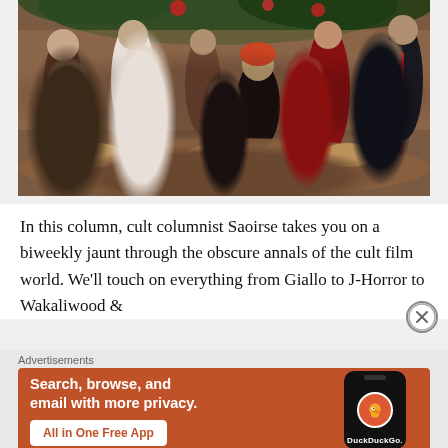[Figure (photo): A film still showing several actors at an elaborate dinner table with red decorations, food, and drinks. A woman with red hair in a black dress is seated at center, surrounded by men in various costumes including a chef in white and figures in red and black.]
In this column, cult columnist Saoirse takes you on a biweekly jaunt through the obscure annals of the cult film world. We'll touch on everything from Giallo to J-Horror to Wakaliwood &
Advertisements
[Figure (screenshot): DuckDuckGo advertisement banner with orange/red background. Left side shows bold white text 'Search, browse, and email with more privacy.' with a white button 'All in One Free App'. Right side shows a smartphone with the DuckDuckGo logo and label.]